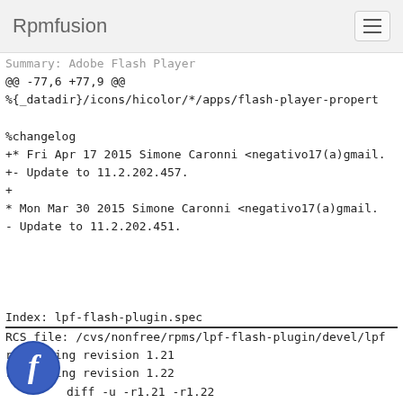Rpmfusion
Summary:        Adobe Flash Player
@@ -77,6 +77,9 @@
 %{_datadir}/icons/hicolor/*/apps/flash-player-propert

 %changelog
+* Fri Apr 17 2015 Simone Caronni <negativo17(a)gmail.
+- Update to 11.2.202.457.
+
 * Mon Mar 30 2015 Simone Caronni <negativo17(a)gmail.
 - Update to 11.2.202.451.

Index: lpf-flash-plugin.spec
============================================================================================
RCS file: /cvs/nonfree/rpms/lpf-flash-plugin/devel/lpf
retrieving revision 1.21
retrieving revision 1.22
diff -u -r1.21 -r1.22
--- lpf-flash-plugin.spec        30 Mar 2015 08:28:40 -